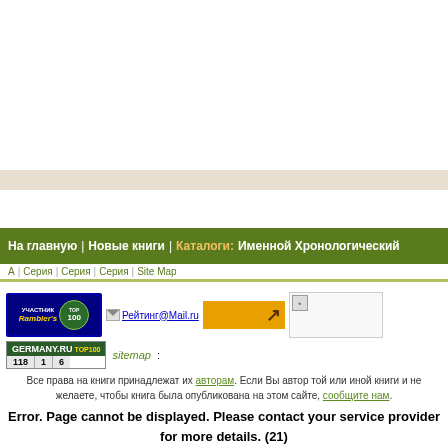[Figure (screenshot): Top white empty area of a webpage]
[Figure (screenshot): Beige/tan horizontal bar]
На главную | Новые книги | Каталоги: Именной Хронологический
[Figure (screenshot): Rambler TOP 100 badge, Mail.ru rating link, orange banner with arrow, broken image placeholder, Germany.ru TOP100 badge (118, 1, 6), sitemap link]
Все права на книги принадлежат их авторам. Если Вы автор той или иной книги и не желаете, чтобы книга была опубликована на этом сайте, сообщите нам.
Error. Page cannot be displayed. Please contact your service provider for more details. (21)